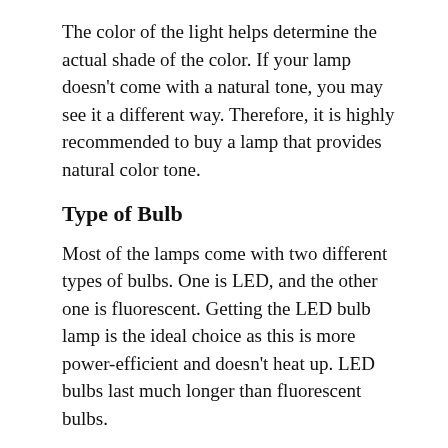The color of the light helps determine the actual shade of the color. If your lamp doesn't come with a natural tone, you may see it a different way. Therefore, it is highly recommended to buy a lamp that provides natural color tone.
Type of Bulb
Most of the lamps come with two different types of bulbs. One is LED, and the other one is fluorescent. Getting the LED bulb lamp is the ideal choice as this is more power-efficient and doesn't heat up. LED bulbs last much longer than fluorescent bulbs.
How Does Light Affect Art
Light is an essential component of all art. For art to